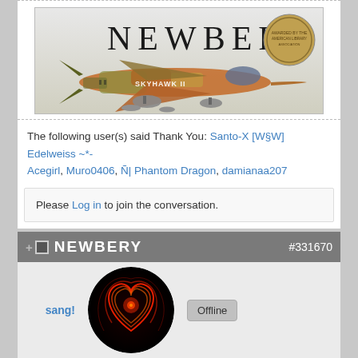[Figure (photo): A military jet aircraft (Skyhawk II) in desert camouflage paint scheme, displayed against a light background with the word NEWBERY in large serif text above it and a Newbery Medal medallion in the upper right corner.]
The following user(s) said Thank You: Santo-X [W§W] Edelweiss ~*- Acegirl, Muro0406, Ñ| Phantom Dragon, damianaa207
Please Log in to join the conversation.
NEWBERY  #331670
[Figure (photo): Circular avatar image showing an abstract glowing red/orange heart shape on a dark background.]
sang!
Offline